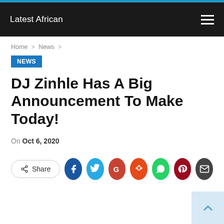Latest African
Home > News >
NEWS
DJ Zinhle Has A Big Announcement To Make Today!
On Oct 6, 2020
[Figure (infographic): Share button and social media icons: Share, Facebook, Twitter, Google, Reddit, WhatsApp, Pinterest, Email]